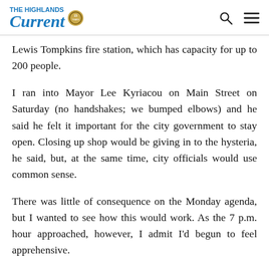The Highlands Current
Lewis Tompkins fire station, which has capacity for up to 200 people.
I ran into Mayor Lee Kyriacou on Main Street on Saturday (no handshakes; we bumped elbows) and he said he felt it important for the city government to stay open. Closing up shop would be giving in to the hysteria, he said, but, at the same time, city officials would use common sense.
There was little of consequence on the Monday agenda, but I wanted to see how this would work. As the 7 p.m. hour approached, however, I admit I'd begun to feel apprehensive.